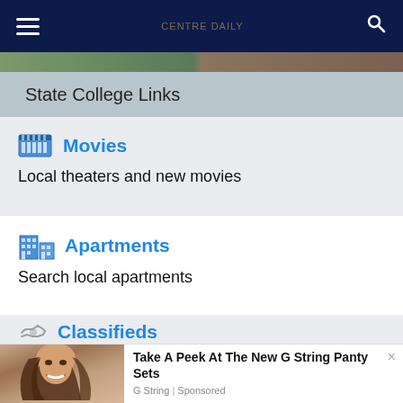Navigation bar with hamburger menu, logo, search icon
[Figure (screenshot): Partial image strip below nav bar]
State College Links
Movies — Local theaters and new movies
Apartments — Search local apartments
Classifieds
[Figure (photo): Advertisement popup: photo of smiling woman. Ad text: Take A Peek At The New G String Panty Sets. G String | Sponsored]
Social sharing bar: Facebook, Twitter, Email, SMS